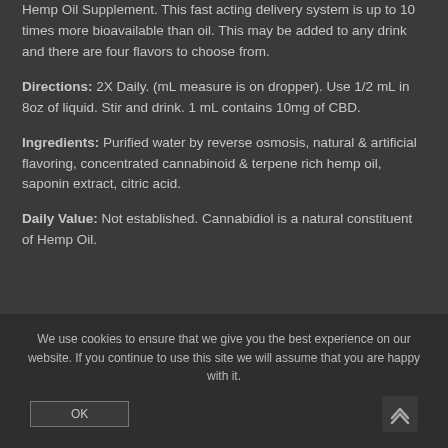Hemp Oil Supplement. This fast acting delivery system is up to 10 times more bioavailable than oil. This may be added to any drink and there are four flavors to choose from.
Directions: 2X Daily. (mL measure is on dropper). Use 1/2 mL in 8oz of liquid. Stir and drink. 1 mL contains 10mg of CBD.
Ingredients: Purified water by reverse osmosis, natural & artificial flavoring, concentrated cannabinoid & terpene rich hemp oil, saponin extract, citric acid.
Daily Value: Not established. Cannabidiol is a natural constituent of Hemp Oil.
We use cookies to ensure that we give you the best experience on our website. If you continue to use this site we will assume that you are happy with it.